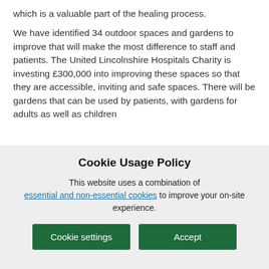which is a valuable part of the healing process.
We have identified 34 outdoor spaces and gardens to improve that will make the most difference to staff and patients. The United Lincolnshire Hospitals Charity is investing £300,000 into improving these spaces so that they are accessible, inviting and safe spaces. There will be gardens that can be used by patients, with gardens for adults as well as children
Cookie Usage Policy
This website uses a combination of essential and non-essential cookies to improve your on-site experience.
Cookie settings | Accept